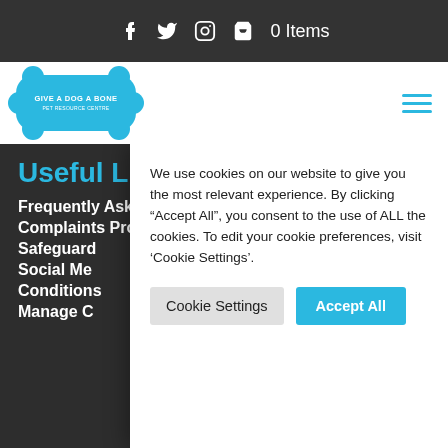f  Twitter  Instagram  🛒 0 Items
[Figure (logo): Give a Dog a Bone logo — blue bone shape with white text]
Useful Links
Frequently Asked Questions
Complaints Procedure
Safeguarding
Social Me...
Conditions
Manage C...
We use cookies on our website to give you the most relevant experience. By clicking “Accept All”, you consent to the use of ALL the cookies. To edit your cookie preferences, visit ‘Cookie Settings’.
Cookie Settings | Accept All